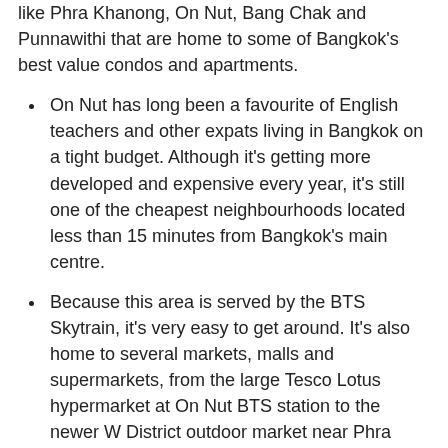like Phra Khanong, On Nut, Bang Chak and Punnawithi that are home to some of Bangkok's best value condos and apartments.
On Nut has long been a favourite of English teachers and other expats living in Bangkok on a tight budget. Although it's getting more developed and expensive every year, it's still one of the cheapest neighbourhoods located less than 15 minutes from Bangkok's main centre.
Because this area is served by the BTS Skytrain, it's very easy to get around. It's also home to several markets, malls and supermarkets, from the large Tesco Lotus hypermarket at On Nut BTS station to the newer W District outdoor market near Phra Khanong BTS.
From a cost of living perspective, the Phra Khanong/On Nut area offers the best value you'll find along the Sukhumvit Line. Apartments here are